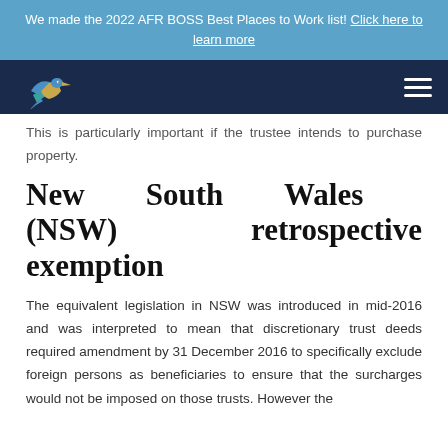We made the 2022 AFR BOSS Best Places to Work list! Click here to learn more
[Figure (logo): Bird logo (heron/kingfisher) on dark navy navigation bar with hamburger menu icon]
This is particularly important if the trustee intends to purchase property.
New South Wales (NSW) retrospective exemption
The equivalent legislation in NSW was introduced in mid-2016 and was interpreted to mean that discretionary trust deeds required amendment by 31 December 2016 to specifically exclude foreign persons as beneficiaries to ensure that the surcharges would not be imposed on those trusts. However the